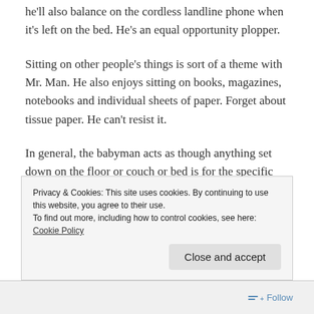he'll also balance on the cordless landline phone when it's left on the bed. He's an equal opportunity plopper.
Sitting on other people's things is sort of a theme with Mr. Man. He also enjoys sitting on books, magazines, notebooks and individual sheets of paper. Forget about tissue paper. He can't resist it.
In general, the babyman acts as though anything set down on the floor or couch or bed is for the specific purpose of cushioning his rear end. IF you set something down in front of him you must be aware that in his mind
Privacy & Cookies: This site uses cookies. By continuing to use this website, you agree to their use.
To find out more, including how to control cookies, see here: Cookie Policy
Close and accept